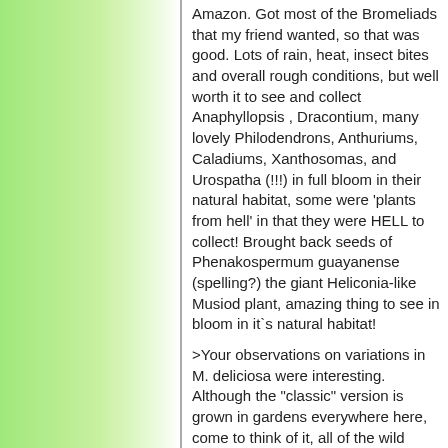Amazon. Got most of the Bromeliads that my friend wanted, so that was good. Lots of rain, heat, insect bites and overall rough conditions, but well worth it to see and collect Anaphyllopsis , Dracontium, many lovely Philodendrons, Anthuriums, Caladiums, Xanthosomas, and Urospatha (!!!) in full bloom in their natural habitat, some were 'plants from hell' in that they were HELL to collect! Brought back seeds of Phenakospermum guayanense (spelling?) the giant Heliconia-like Musiod plant, amazing thing to see in bloom in it`s natural habitat!
>Your observations on variations in M. deliciosa were interesting. Although the "classic" version is grown in gardens everywhere here, come to think of it, all of the wild plants I have observed in the western Guatemalan